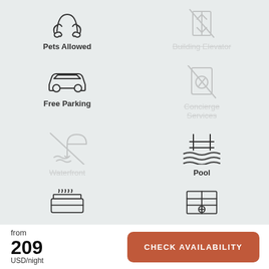Pets Allowed
Building Elevator (unavailable)
Free Parking
Concierge Services (unavailable)
Waterfront (unavailable)
Pool
[Figure (infographic): Hot tub/BBQ icon partially visible at bottom]
[Figure (infographic): Garage icon partially visible at bottom]
from
209
USD/night
CHECK AVAILABILITY